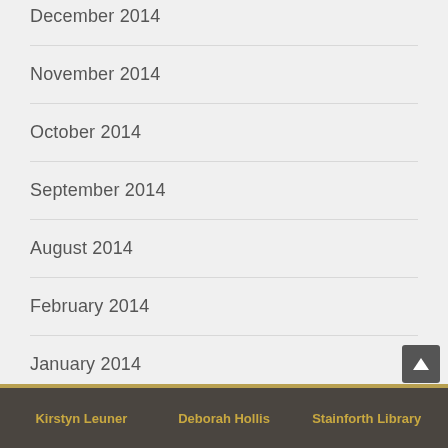December 2014
November 2014
October 2014
September 2014
August 2014
February 2014
January 2014
Kirstyn Leuner   Deborah Hollis   Stainforth Library